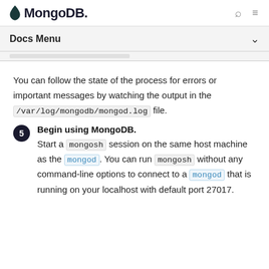MongoDB
Docs Menu
You can follow the state of the process for errors or important messages by watching the output in the /var/log/mongodb/mongod.log file.
5. Begin using MongoDB. Start a mongosh session on the same host machine as the mongod. You can run mongosh without any command-line options to connect to a mongod that is running on your localhost with default port 27017.